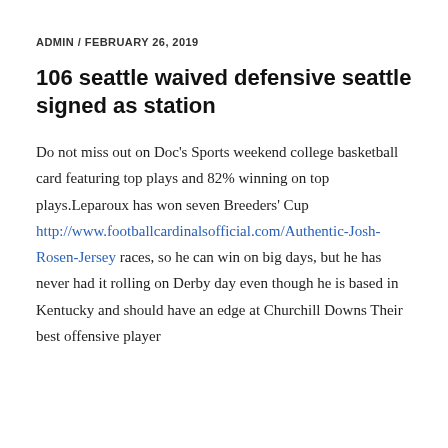ADMIN / FEBRUARY 26, 2019
106 seattle waived defensive seattle signed as station
Do not miss out on Doc's Sports weekend college basketball card featuring top plays and 82% winning on top plays.Leparoux has won seven Breeders' Cup http://www.footballcardinalsofficial.com/Authentic-Josh-Rosen-Jersey races, so he can win on big days, but he has never had it rolling on Derby day even though he is based in Kentucky and should have an edge at Churchill Downs Their best offensive player